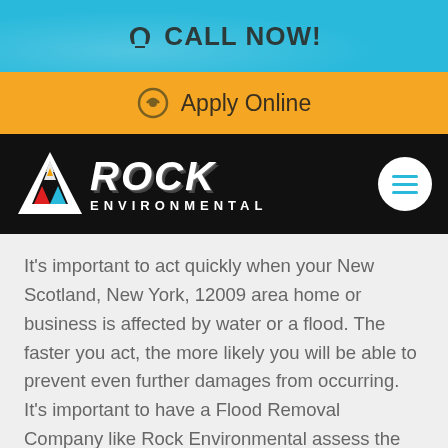📞 CALL NOW!
↻ Apply Online
[Figure (logo): Rock Environmental logo with triangle icon and company name in white bold italic text on black background, with hamburger menu button]
It's important to act quickly when your New Scotland, New York, 12009 area home or business is affected by water or a flood. The faster you act, the more likely you will be able to prevent even further damages from occurring. It's important to have a Flood Removal Company like Rock Environmental assess the situation and